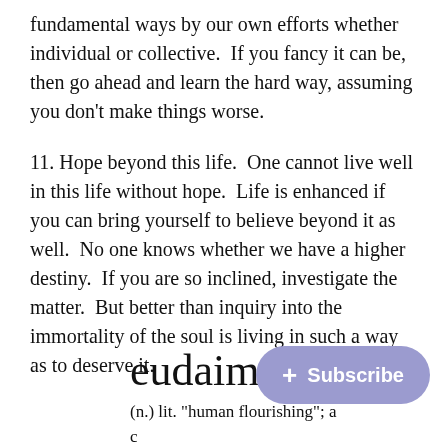fundamental ways by our own efforts whether individual or collective.  If you fancy it can be, then go ahead and learn the hard way, assuming you don't make things worse.
11. Hope beyond this life.  One cannot live well in this life without hope.  Life is enhanced if you can bring yourself to believe beyond it as well.  No one knows whether we have a higher destiny.  If you are so inclined, investigate the matter.  But better than inquiry into the immortality of the soul is living in such a way as to deserve it.
eudaimonia
(n.) lit. "human flourishing"; a c… state of being happy and healthy and